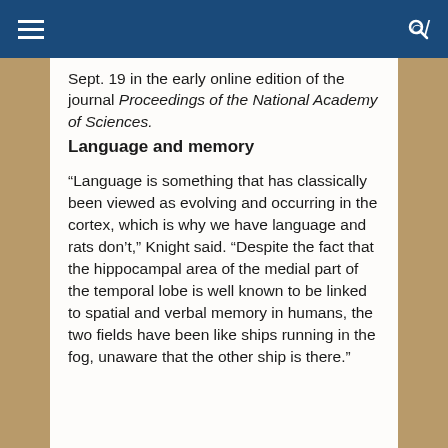Sept. 19 in the early online edition of the journal Proceedings of the National Academy of Sciences.
Language and memory
“Language is something that has classically been viewed as evolving and occurring in the cortex, which is why we have language and rats don’t,” Knight said. “Despite the fact that the hippocampal area of the medial part of the temporal lobe is well known to be linked to spatial and verbal memory in humans, the two fields have been like ships running in the fog, unaware that the other ship is there.”